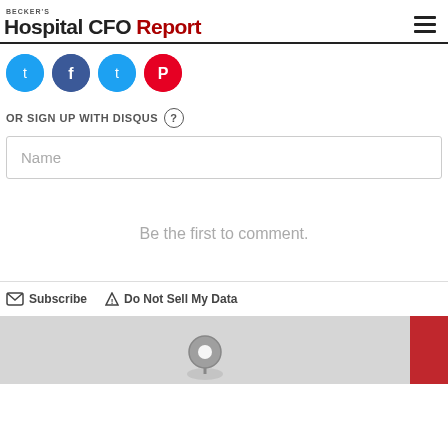Becker's Hospital CFO Report
[Figure (other): Social share buttons: Twitter, Facebook, Twitter, Pinterest (colored circles)]
OR SIGN UP WITH DISQUS ?
Name
Be the first to comment.
Subscribe  Do Not Sell My Data
[Figure (map): Gray map area with a map pin/location icon at the bottom center]
[Figure (other): Red SUBSCRIBE vertical tab on the right side]